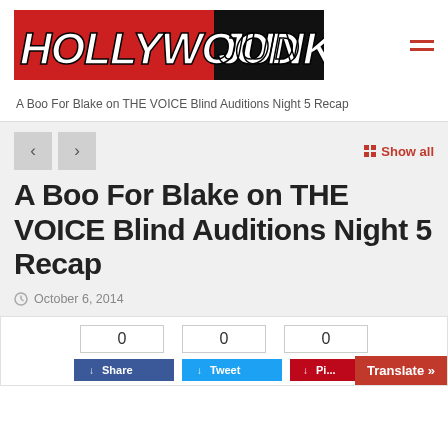[Figure (logo): Hollywood Junket logo — white bold italic text on red and black background]
A Boo For Blake on THE VOICE Blind Auditions Night 5 Recap
A Boo For Blake on THE VOICE Blind Auditions Night 5 Recap
October 6, 2014
0  0  0